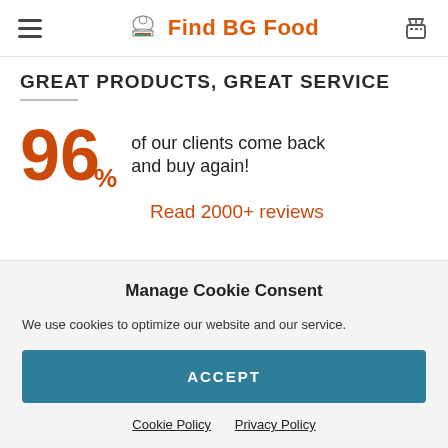Find BG Food
GREAT PRODUCTS, GREAT SERVICE
96% of our clients come back and buy again!
Read 2000+ reviews
Manage Cookie Consent
We use cookies to optimize our website and our service.
ACCEPT
Cookie Policy  Privacy Policy